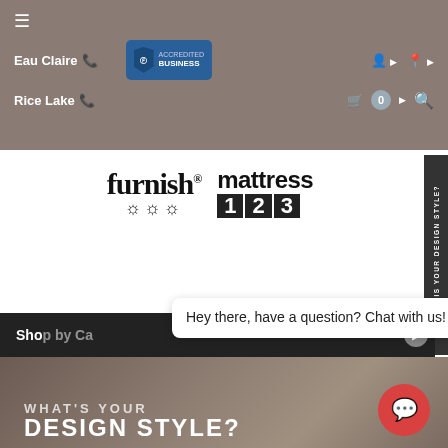≡ Eau Claire [phone] BBB Accredited Business [person icon] [location icon] Rice Lake [phone] [cart 0] [search]
[Figure (logo): furnish 123 and mattress 123 combined logo]
WHAT IS YOUR DESIGN STYLE?
Shop by Ca...
Hey there, have a question? Chat with us!
WHAT'S YOUR
DESIGN STYLE?